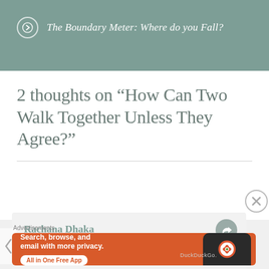The Boundary Meter: Where do you Fall?
2 thoughts on “How Can Two Walk Together Unless They Agree?”
Rachana Dhaka
16 Oct 2020 at 7:07 am

Hmm point
Advertisements
[Figure (screenshot): DuckDuckGo advertisement: orange background with white text 'Search, browse, and email with more privacy. All in One Free App' and a phone image with DuckDuckGo logo]